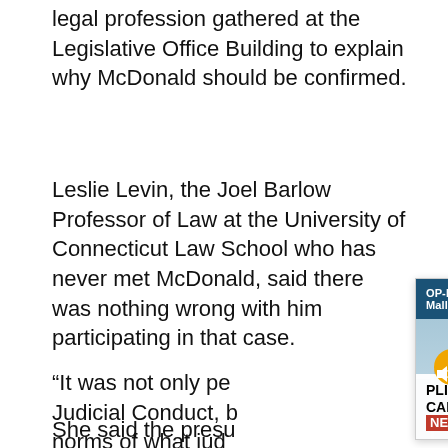legal profession gathered at the Legislative Office Building to explain why McDonald should be confirmed.
Leslie Levin, the Joel Barlow Professor of Law at the University of Connecticut Law School who has never met McDonald, said there was nothing wrong with him participating in that case.
“It was not only pe[rmitted by the Code of] Judicial Conduct, b[ut it also met the] norms of what jud[ges should do”]
She said the presu[mption is that judges] participate[...]
[Figure (screenshot): Ad overlay popup with dark teal header reading 'OP-ED | Apropos of Nothing ... Mall...' with a close X button. Below is an image of a city skyline (Hartford CT) in winter/blue tones with a gold dome visible. A mute button icon (orange circle with speaker crossed out) appears on the image. At the bottom of the image is a white footer bar reading 'PLIGHT, AND DITCHING CABLE NEWS | CT NEWS JUNKIE' in bold black text.]